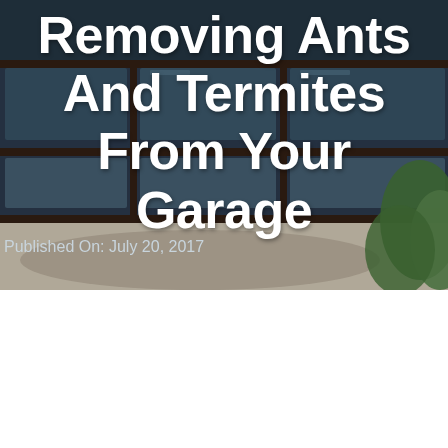[Figure (photo): Photograph of a modern residential garage with dark-framed glass panel doors and a concrete driveway, with green foliage visible on the right side. The image serves as a background behind overlaid text.]
Removing Ants And Termites From Your Garage
Published On: July 20, 2017